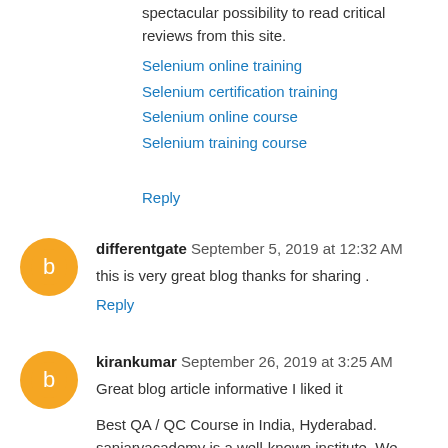Thank you a lot for providing individuals with a very spectacular possibility to read critical reviews from this site.
Selenium online training
Selenium certification training
Selenium online course
Selenium training course
Reply
differentgate  September 5, 2019 at 12:32 AM
this is very great blog thanks for sharing .
Reply
kirankumar  September 26, 2019 at 3:25 AM
Great blog article informative I liked it
Best QA / QC Course in India, Hyderabad. sanjaryacademy is a well-known institute. We have offer professional Engineering Course like Piping Design Course, QA / QC